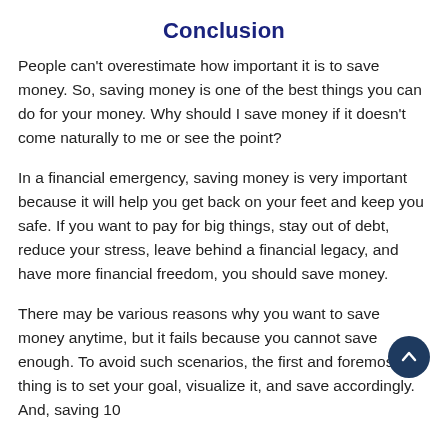Conclusion
People can't overestimate how important it is to save money. So, saving money is one of the best things you can do for your money. Why should I save money if it doesn't come naturally to me or see the point?
In a financial emergency, saving money is very important because it will help you get back on your feet and keep you safe. If you want to pay for big things, stay out of debt, reduce your stress, leave behind a financial legacy, and have more financial freedom, you should save money.
There may be various reasons why you want to save money anytime, but it fails because you cannot save enough. To avoid such scenarios, the first and foremost thing is to set your goal, visualize it, and save accordingly. And, saving 10 %% is from the important that to add your money